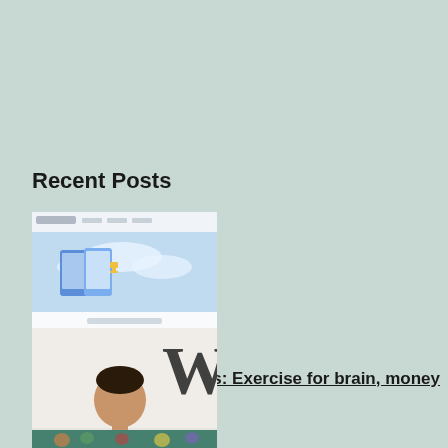Recent Posts
[Figure (screenshot): Thumbnail image of a cricket quiz app website showing mobile phones and trophy icons]
Cricket Quiz Win Prizes: Exercise for brain, money for your pocket
[Figure (photo): Photo of Kevin Pietersen holding a trophy, wearing a white t-shirt, with a 'W' logo visible in the background]
Fifty Shades Of Kevin Pietersen
[Figure (photo): Thumbnail photo of a cricket match in progress]